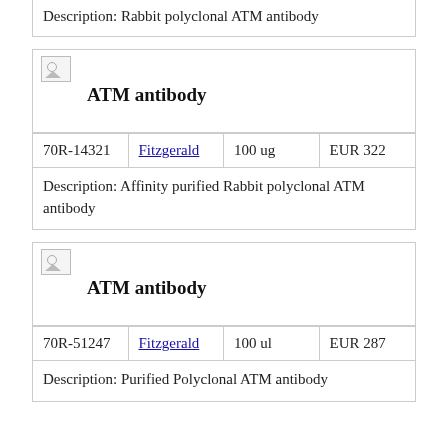Description: Rabbit polyclonal ATM antibody
[Figure (photo): Broken image placeholder for ATM antibody product]
ATM antibody
| 70R-14321 | Fitzgerald | 100 ug | EUR 322 |
| --- | --- | --- | --- |
Description: Affinity purified Rabbit polyclonal ATM antibody
[Figure (photo): Broken image placeholder for ATM antibody product]
ATM antibody
| 70R-51247 | Fitzgerald | 100 ul | EUR 287 |
| --- | --- | --- | --- |
Description: Purified Polyclonal ATM antibody